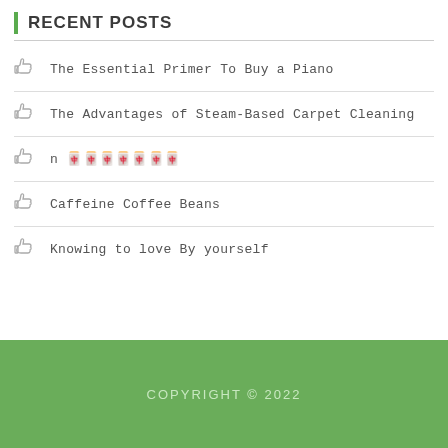RECENT POSTS
The Essential Primer To Buy a Piano
The Advantages of Steam-Based Carpet Cleaning
n 🀄🀄🀄🀄🀄🀄🀄
Caffeine Coffee Beans
Knowing to love By yourself
COPYRIGHT © 2022